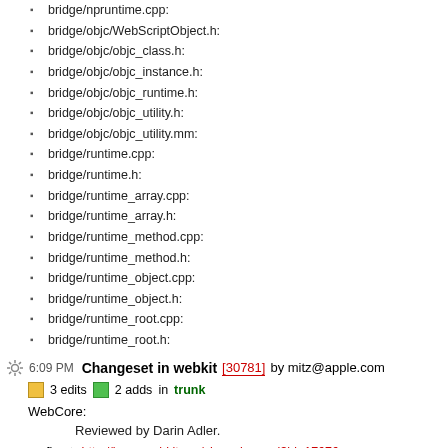bridge/npruntime.cpp:
bridge/objc/WebScriptObject.h:
bridge/objc/objc_class.h:
bridge/objc/objc_instance.h:
bridge/objc/objc_runtime.h:
bridge/objc/objc_utility.h:
bridge/objc/objc_utility.mm:
bridge/runtime.cpp:
bridge/runtime.h:
bridge/runtime_array.cpp:
bridge/runtime_array.h:
bridge/runtime_method.cpp:
bridge/runtime_method.h:
bridge/runtime_object.cpp:
bridge/runtime_object.h:
bridge/runtime_root.cpp:
bridge/runtime_root.h:
6:09 PM Changeset in webkit [30781] by mitz@apple.com
3 edits   2 adds   in trunk
WebCore:
Reviewed by Darin Adler.
fix http://bugs.webkit.org/show_bug.cgi?id=17676 <rdar://problem/5781091> REGRESSION (r30240-r30267): href attribute